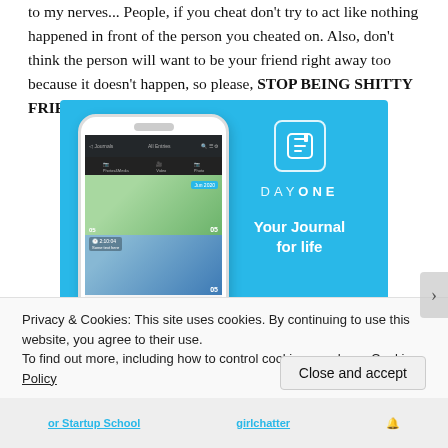to my nerves... People, if you cheat don't try to act like nothing happened in front of the person you cheated on. Also, don't think the person will want to be your friend right away too because it doesn't happen, so please, STOP BEING SHITTY FRIENDS!
[Figure (advertisement): DayOne journal app advertisement with a phone mockup showing journal entries with photos, blue background, DayOne logo and tagline 'Your Journal for life']
Privacy & Cookies: This site uses cookies. By continuing to use this website, you agree to their use.
To find out more, including how to control cookies, see here: Cookie Policy
Close and accept